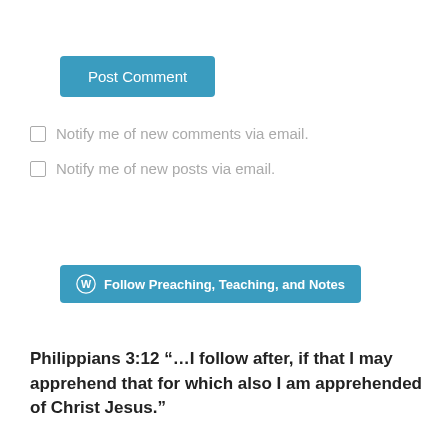Post Comment
Notify me of new comments via email.
Notify me of new posts via email.
Follow Preaching, Teaching, and Notes
Philippians 3:12 “…I follow after, if that I may apprehend that for which also I am apprehended of Christ Jesus.”